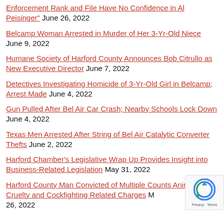Enforcement Rank and File Have No Confidence in Al Peisinger" June 26, 2022
Belcamp Woman Arrested in Murder of Her 3-Yr-Old Niece June 9, 2022
Humane Society of Harford County Announces Bob Citrullo as New Executive Director June 7, 2022
Detectives Investigating Homicide of 3-Yr-Old Girl in Belcamp; Arrest Made June 4, 2022
Gun Pulled After Bel Air Car Crash; Nearby Schools Lock Down June 4, 2022
Texas Men Arrested After String of Bel Air Catalytic Converter Thefts June 2, 2022
Harford Chamber's Legislative Wrap Up Provides Insight into Business-Related Legislation May 31, 2022
Harford County Man Convicted of Multiple Counts Animal Cruelty and Cockfighting Related Charges May 26, 2022